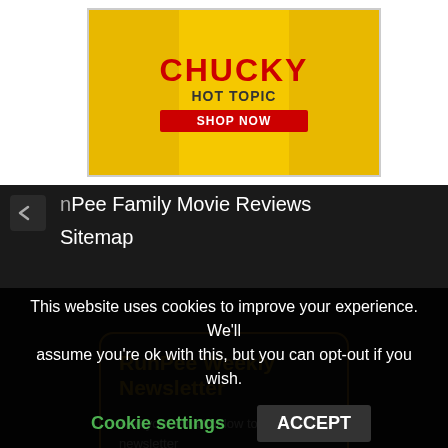[Figure (screenshot): Advertisement banner for Chucky x Hot Topic collaboration showing Chucky-themed clothing with 'SHOP NOW' button on yellow background]
nPee Family Movie Reviews
Sitemap
RunPee Weekly Newsletter
Add your email below to get our newsletter
* Upcoming movies this week
* Movie reviews from previous week
This website uses cookies to improve your experience. We'll assume you're ok with this, but you can opt-out if you wish.
Cookie settings    ACCEPT